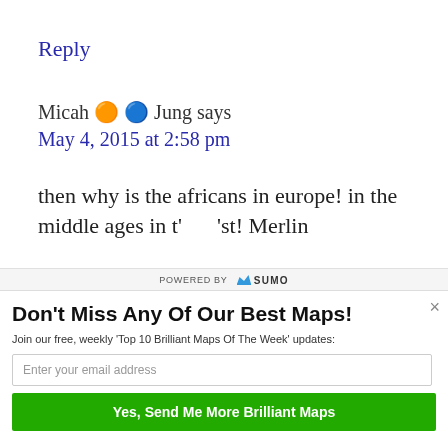Reply
Micah 🔴🔵 Jung says
May 4, 2015 at 2:58 pm
then why is the africans in europe! in the middle ages in t'… …'st! Merlin
[Figure (logo): POWERED BY SUMO logo bar]
×
Don't Miss Any Of Our Best Maps!
Join our free, weekly 'Top 10 Brilliant Maps Of The Week' updates:
Enter your email address
Yes, Send Me More Brilliant Maps